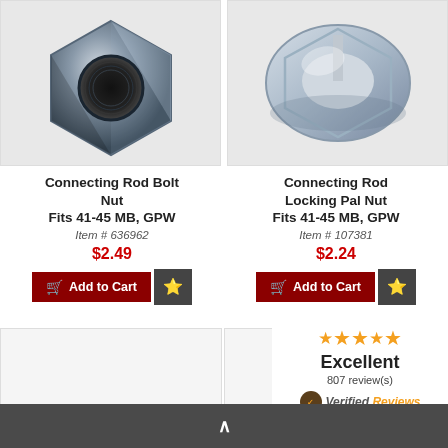[Figure (photo): Hexagonal connecting rod bolt nut, zinc plated metal, top view showing threaded hole]
[Figure (photo): Connecting rod locking pal nut, slotted/split ring design, zinc plated metal]
Connecting Rod Bolt Nut Fits 41-45 MB, GPW
Item # 636962
$2.49
Connecting Rod Locking Pal Nut Fits 41-45 MB, GPW
Item # 107381
$2.24
[Figure (photo): Partial product image bottom left, cropped]
[Figure (photo): Partial product image bottom center-left, cropped]
Excellent
807 review(s)
Verified Reviews